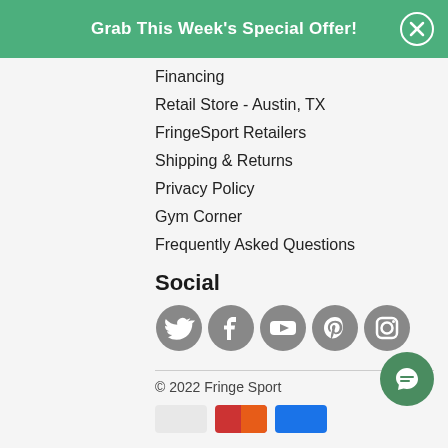Grab This Week's Special Offer!
Financing
Retail Store - Austin, TX
FringeSport Retailers
Shipping & Returns
Privacy Policy
Gym Corner
Frequently Asked Questions
Social
[Figure (infographic): Row of five social media icon circles (Twitter, Facebook, YouTube, Pinterest, Instagram) in gray]
© 2022 Fringe Sport